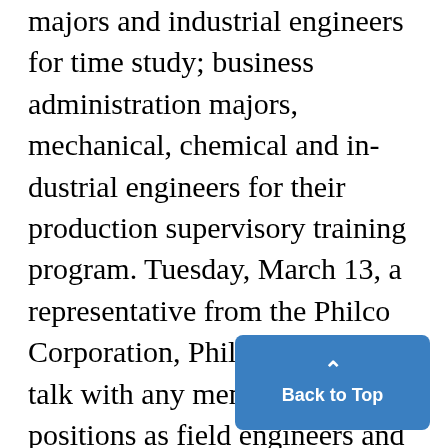majors and industrial engineers for time study; business administration majors, mechanical, chemical and industrial engineers for their production supervisory training program. Tuesday, March 13, a representative from the Philco Corporation, Philadelphia, will talk with any men interested in positions as field engineers and technical representatives for servicing radio and radar equipment; physicists, engineering physicists, electrical and mechanical engineers for main and installation, and research: